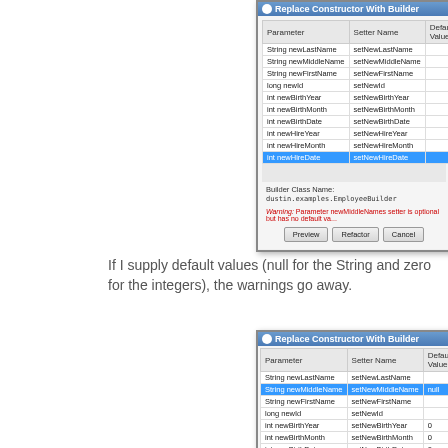[Figure (screenshot): Replace Constructor With Builder dialog showing parameter table with rows: String newLastName/setNewLastName, String newMiddleName/setNewMiddleName, String newFirstName/setNewFirstName, long newId/setNewId, int newBirthYear/setNewBirthYear, int newBirthMonth/setNewBirthMonth, int newBirthDate/setNewBirthDate, int newHireYear/setNewHireYear, int newHireMonth/setNewHireMonth, int newHireDate/setNewHireDate (highlighted blue). Builder Class Name: dustin.examples.EmployeeBuilder. Warning about newMiddleNames setter optional but no default value. Preview, Refactor, Cancel buttons.]
If I supply default values (null for the String and zero for the integers), the warnings go away.
[Figure (screenshot): Replace Constructor With Builder dialog showing parameter table with default values filled in: String newLastName/setNewLastName, String newMiddleName/setNewMiddleName (highlighted blue, default: null), String newFirstName/setNewFirstName, long newId/setNewId, int newBirthYear/setNewBirthYear/0, int newBirthMonth/setNewBirthMonth/0, int newBirthDate/setNewBirthDate/0, int newHireYear/setNewHireYear/0, int newHireMonth/setNewHireMonth/0, int newHireDate/setNewHireDate/0. Builder Class Name: dustin.examples.EmployeeBuilder.]